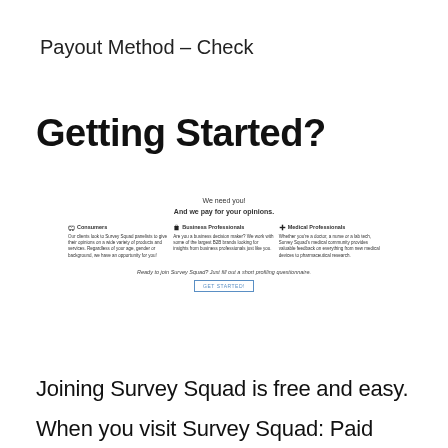Payout Method – Check
Getting Started?
[Figure (screenshot): Screenshot of Survey Squad website showing 'We need you! And we pay for your opinions.' with three columns: Consumers, Business Professionals, Medical Professionals, and a GET STARTED! button]
Joining Survey Squad is free and easy.
When you visit Survey Squad: Paid